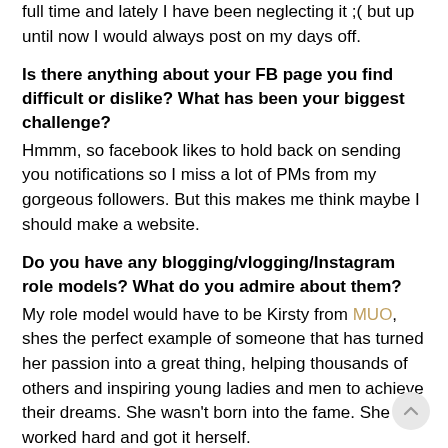full time and lately I have been neglecting it ;( but up until now I would always post on my days off.
Is there anything about your FB page you find difficult or dislike? What has been your biggest challenge?
Hmmm, so facebook likes to hold back on sending you notifications so I miss a lot of PMs from my gorgeous followers. But this makes me think maybe I should make a website.
Do you have any blogging/vlogging/Instagram role models? What do you admire about them?
My role model would have to be Kirsty from MUO, shes the perfect example of someone that has turned her passion into a great thing, helping thousands of others and inspiring young ladies and men to achieve their dreams. She wasn't born into the fame. She worked hard and got it herself.
What has been your favourite FB page moment to